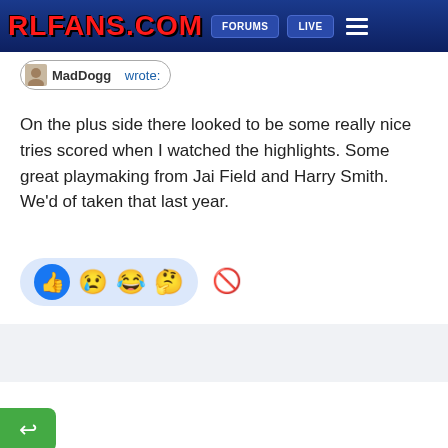RLFANS.COM — FORUMS | LIVE
MadDogg wrote:
On the plus side there looked to be some really nice tries scored when I watched the highlights. Some great playmaking from Jai Field and Harry Smith. We'd of taken that last year.
[Figure (other): Reaction emoji bar with thumbs up, angry face, laughing face, thinking face emojis, and a block/ban icon]
[Figure (other): Green reply button with arrow icon on left edge of page]